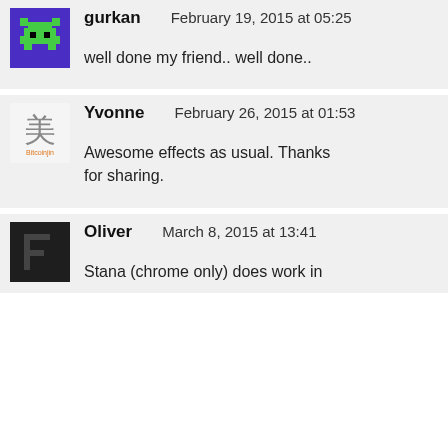[Figure (illustration): Pixel art avatar of a green space invader character on purple background (gurkan)]
gurkan   February 19, 2015 at 05:25
well done my friend.. well done..
[Figure (illustration): Bitcoinjin logo with Chinese character 美 in gray and orange text below]
Yvonne   February 26, 2015 at 01:53
Awesome effects as usual. Thanks for sharing.
[Figure (illustration): Dark gray/black square avatar with letter F shape in darker shade (Oliver)]
Oliver   March 8, 2015 at 13:41
Stana (chrome only) does work in